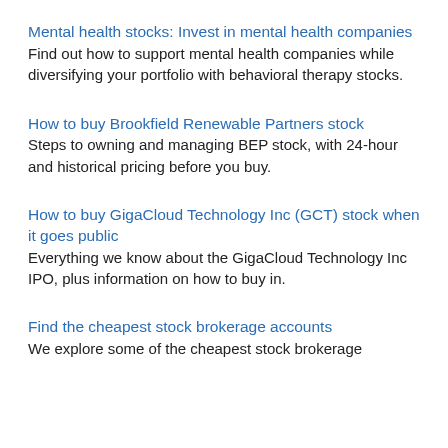Mental health stocks: Invest in mental health companies
Find out how to support mental health companies while diversifying your portfolio with behavioral therapy stocks.
How to buy Brookfield Renewable Partners stock
Steps to owning and managing BEP stock, with 24-hour and historical pricing before you buy.
How to buy GigaCloud Technology Inc (GCT) stock when it goes public
Everything we know about the GigaCloud Technology Inc IPO, plus information on how to buy in.
Find the cheapest stock brokerage accounts
We explore some of the cheapest stock brokerage